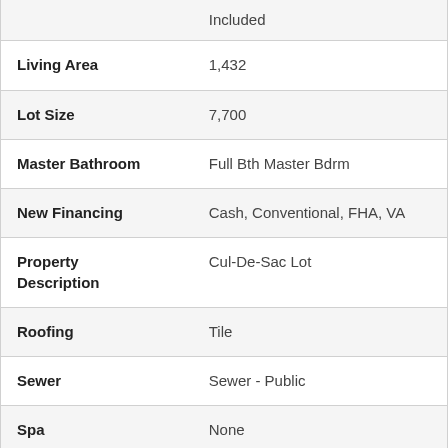| Field | Value |
| --- | --- |
|  | Included |
| Living Area | 1,432 |
| Lot Size | 7,700 |
| Master Bathroom | Full Bth Master Bdrm |
| New Financing | Cash, Conventional, FHA, VA |
| Property Description | Cul-De-Sac Lot |
| Roofing | Tile |
| Sewer | Sewer - Public |
| Spa | None |
| Stories | 1 |